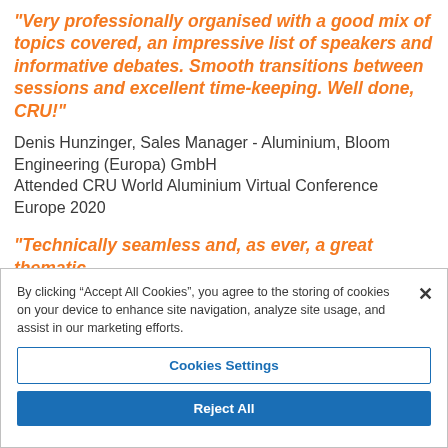"Very professionally organised with a good mix of topics covered, an impressive list of speakers and informative debates. Smooth transitions between sessions and excellent time-keeping. Well done, CRU!"
Denis Hunzinger, Sales Manager - Aluminium, Bloom Engineering (Europa) GmbH
Attended CRU World Aluminium Virtual Conference Europe 2020
"Technically seamless and, as ever, a great thematic
By clicking “Accept All Cookies”, you agree to the storing of cookies on your device to enhance site navigation, analyze site usage, and assist in our marketing efforts.
Cookies Settings
Reject All